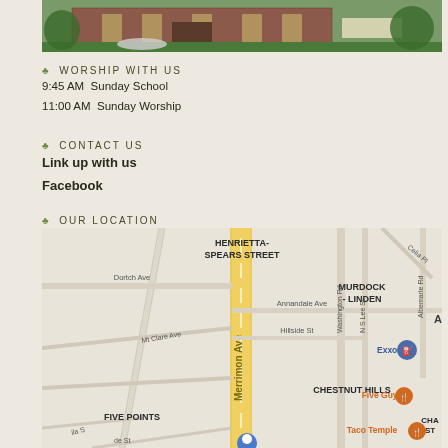[Figure (photo): Exterior photo of a church building with brick facade, green lawn, and trees in the foreground]
♣ WORSHIP WITH US
9:45 AM Sunday School
11:00 AM Sunday Worship
♣ CONTACT US
Link up with us
Facebook
♣ OUR LOCATION
[Figure (map): Google Maps view showing Merrimon Ave area in Asheville NC with neighborhoods HENRIETTA-SPEARS STREET, MURDOCK-LINDEN, CHESTNUT HILLS, FIVE POINTS, landmarks Dortch Ave, Annandale Ave, Hillside St, Washington Rd, N S Lee St, Albemarle Rd, Mt Clare Ave, Five Guys restaurant, Exxon gas station, Taco Temple restaurant]